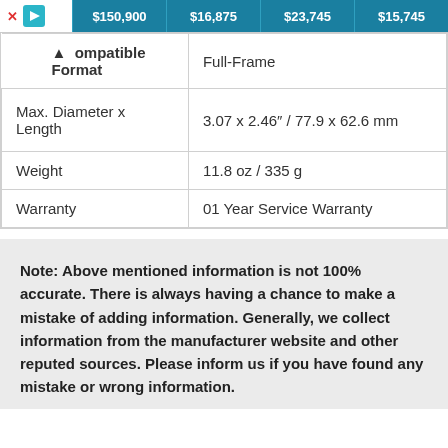| Compatible Format | Full-Frame | Max. Diameter x Length | 3.07 x 2.46" / 77.9 x 62.6 mm | Weight | 11.8 oz / 335 g | Warranty | 01 Year Service Warranty |
| --- | --- | --- | --- | --- | --- | --- | --- |
| Compatible Format | Full-Frame |
| Max. Diameter x Length | 3.07 x 2.46" / 77.9 x 62.6 mm |
| Weight | 11.8 oz / 335 g |
| Warranty | 01 Year Service Warranty |
Note: Above mentioned information is not 100% accurate. There is always having a chance to make a mistake of adding information. Generally, we collect information from the manufacturer website and other reputed sources. Please inform us if you have found any mistake or wrong information.